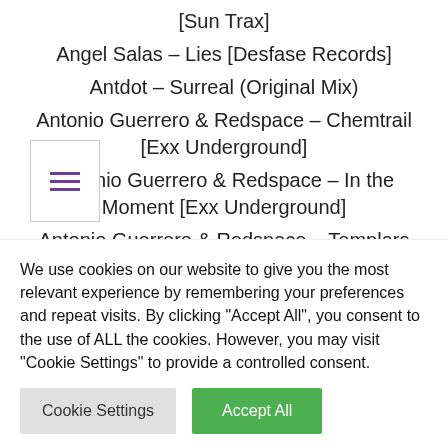[Sun Trax]
Angel Salas – Lies [Desfase Records]
Antdot – Surreal (Original Mix)
Antonio Guerrero & Redspace – Chemtrail [Exx Underground]
Antonio Guerrero & Redspace – In the Moment [Exx Underground]
Antonio Guerrero & Redspace – Templars [Exx Underground]
beautySearch – Voices of the Planets
We use cookies on our website to give you the most relevant experience by remembering your preferences and repeat visits. By clicking "Accept All", you consent to the use of ALL the cookies. However, you may visit "Cookie Settings" to provide a controlled consent.